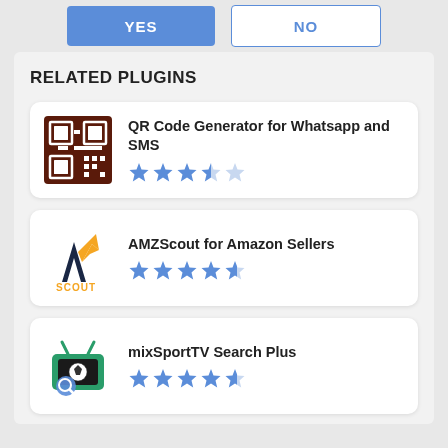[Figure (other): YES and NO buttons at top]
RELATED PLUGINS
[Figure (other): Plugin card: QR Code Generator for Whatsapp and SMS with QR code icon and 3.5 star rating]
[Figure (other): Plugin card: AMZScout for Amazon Sellers with AMZScout logo and 4.5 star rating]
[Figure (other): Plugin card: mixSportTV Search Plus with TV icon and 4.5 star rating]